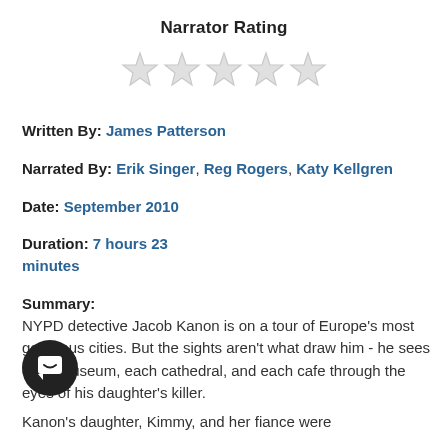Narrator Rating
[Figure (other): Five empty/outline star rating icons displayed horizontally]
Written By: James Patterson
Narrated By: Erik Singer, Reg Rogers, Katy Kellgren
Date: September 2010
Duration: 7 hours 23 minutes
Summary:
NYPD detective Jacob Kanon is on a tour of Europe's most gorgeous cities. But the sights aren't what draw him - he sees each museum, each cathedral, and each cafe through the eyes of his daughter's killer.

Kanon's daughter, Kimmy, and her fiance were